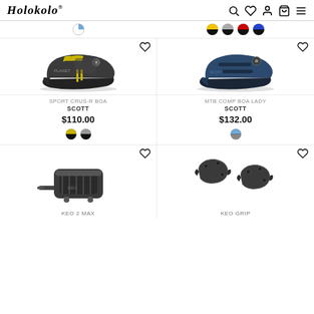Holokolo
[Figure (other): Color swatches row at top — left: one blue/white swatch; right: four swatches (yellow/black, grey/black, red/black, blue/black)]
[Figure (photo): SCOTT Sport Crus-R BOA cycling shoe, dark grey with yellow accents]
SPORT CRUS-R BOA
SCOTT
$110.00
[Figure (other): Two color swatches: yellow/black half-half circle, grey/black half-half circle]
[Figure (photo): SCOTT MTB Comp BOA Lady cycling shoe, dark blue/navy color]
MTB COMP BOA LADY
SCOTT
$132.00
[Figure (other): One color swatch: blue/grey half-half circle]
[Figure (photo): KEO 2 MAX cycling pedal, dark grey/black]
KEO 2 MAX
[Figure (photo): KEO GRIP cycling cleats, dark grey/black pair]
KEO GRIP